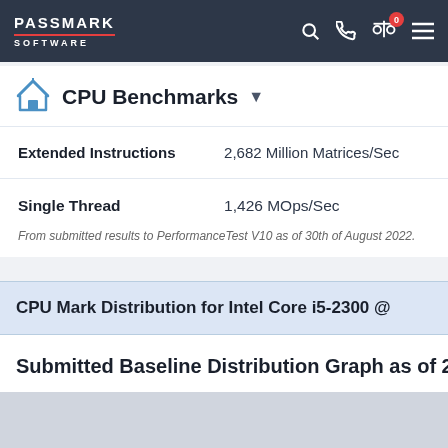PassMark Software — navigation bar
CPU Benchmarks
| Metric | Value |
| --- | --- |
| Extended Instructions | 2,682 Million Matrices/Sec |
| Single Thread | 1,426 MOps/Sec |
From submitted results to PerformanceTest V10 as of 30th of August 2022.
CPU Mark Distribution for Intel Core i5-2300 @
Submitted Baseline Distribution Graph as of 25th